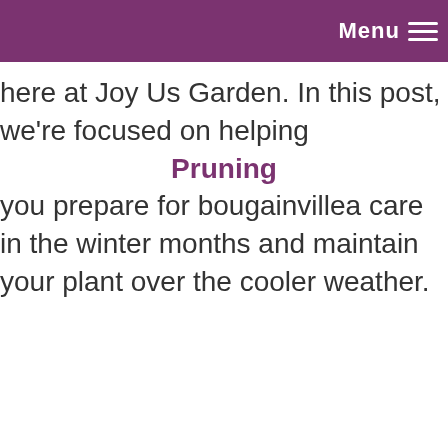Menu
here at Joy Us Garden. In this post, we're focused on helping you prepare for bougainvillea care in the winter months and maintain your plant over the cooler weather.
Pruning